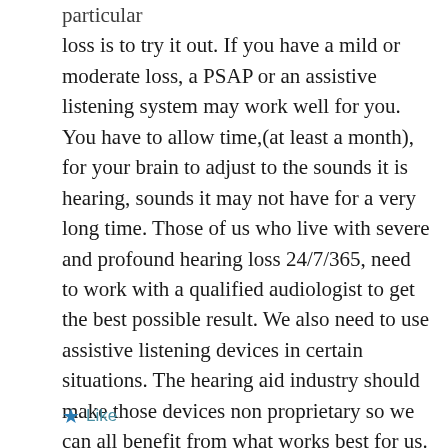particular loss is to try it out. If you have a mild or moderate loss, a PSAP or an assistive listening system may work well for you. You have to allow time,(at least a month), for your brain to adjust to the sounds it is hearing, sounds it may not have for a very long time. Those of us who live with severe and profound hearing loss 24/7/365, need to work with a qualified audiologist to get the best possible result. We also need to use assistive listening devices in certain situations. The hearing aid industry should make those devices non proprietary so we can all benefit from what works best for us.
Like